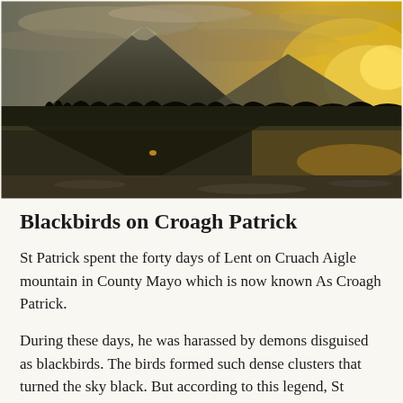[Figure (photo): Landscape photograph of Croagh Patrick mountain in County Mayo, Ireland, reflected in a calm lake at golden hour. The pyramidal mountain dominates the left side, with dramatic golden cloudy sky on the right and a still water reflection below.]
Blackbirds on Croagh Patrick
St Patrick spent the forty days of Lent on Cruach Aigle mountain in County Mayo which is now known As Croagh Patrick.
During these days, he was harassed by demons disguised as blackbirds. The birds formed such dense clusters that turned the sky black. But according to this legend, St Patrick's prayers were answered which bell